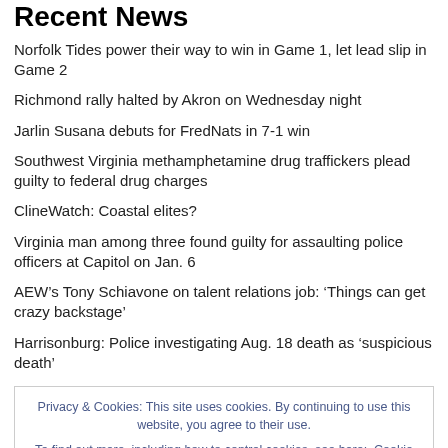Recent News
Norfolk Tides power their way to win in Game 1, let lead slip in Game 2
Richmond rally halted by Akron on Wednesday night
Jarlin Susana debuts for FredNats in 7-1 win
Southwest Virginia methamphetamine drug traffickers plead guilty to federal drug charges
ClineWatch: Coastal elites?
Virginia man among three found guilty for assaulting police officers at Capitol on Jan. 6
AEW’s Tony Schiavone on talent relations job: ‘Things can get crazy backstage’
Harrisonburg: Police investigating Aug. 18 death as ‘suspicious death’
Privacy & Cookies: This site uses cookies. By continuing to use this website, you agree to their use. To find out more, including how to control cookies, see here: Cookie Policy
Close and accept
the University of Virginia